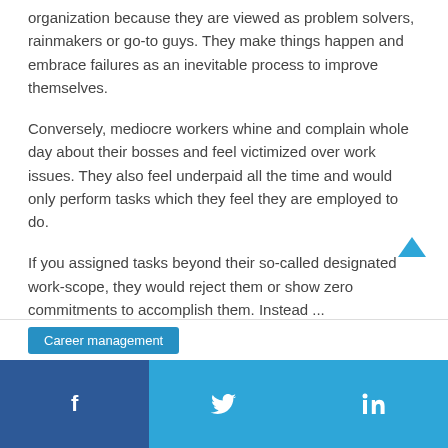organization because they are viewed as problem solvers, rainmakers or go-to guys. They make things happen and embrace failures as an inevitable process to improve themselves.
Conversely, mediocre workers whine and complain whole day about their bosses and feel victimized over work issues. They also feel underpaid all the time and would only perform tasks which they feel they are employed to do.
If you assigned tasks beyond their so-called designated work-scope, they would reject them or show zero commitments to accomplish them. Instead ...
Read more
Career management